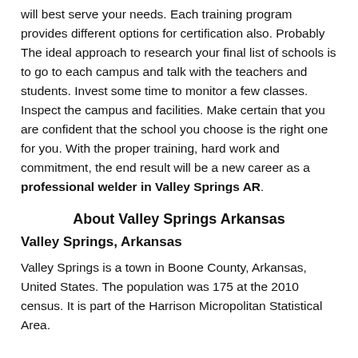will best serve your needs. Each training program provides different options for certification also. Probably The ideal approach to research your final list of schools is to go to each campus and talk with the teachers and students. Invest some time to monitor a few classes. Inspect the campus and facilities. Make certain that you are confident that the school you choose is the right one for you. With the proper training, hard work and commitment, the end result will be a new career as a professional welder in Valley Springs AR.
About Valley Springs Arkansas
Valley Springs, Arkansas
Valley Springs is a town in Boone County, Arkansas, United States. The population was 175 at the 2010 census. It is part of the Harrison Micropolitan Statistical Area.